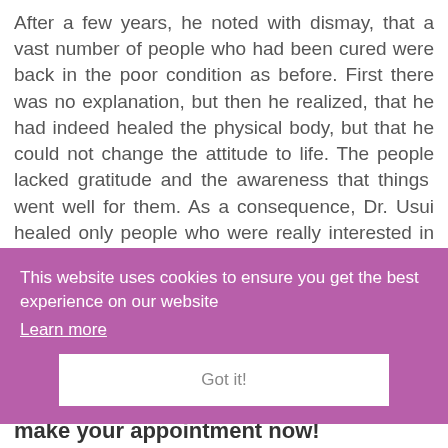After a few years, he noted with dismay, that a vast number of people who had been cured were back in the poor condition as before. First there was no explanation, but then he realized, that he had indeed healed the physical body, but that he could not change the attitude to life. The people lacked gratitude and the awareness that things went well for them. As a consequence, Dr. Usui healed only people who were really interested in a change and even grateful. He gave them the five Reiki principles.
[Figure (screenshot): Cookie consent overlay with purple background. Text: 'This website uses cookies to ensure you get the best experience on our website'. Link: 'Learn more'. Button: 'Got it!']
Free initial consultation - make your appointment now!